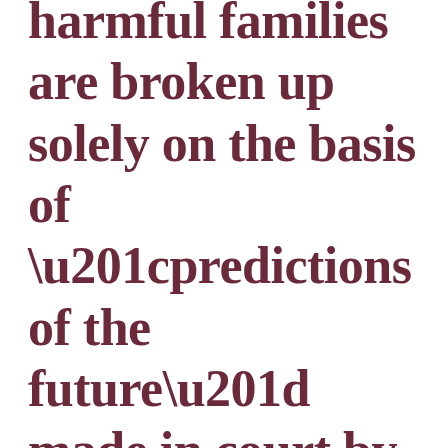harmful families are broken up solely on the basis of “predictions of the future” made in court by social workers and/or psychologists.We all suffer some degree of emotional harm